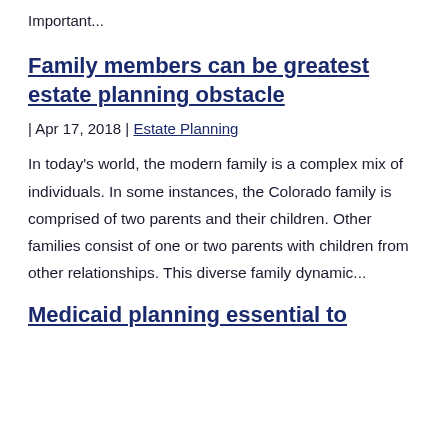Important...
Family members can be greatest estate planning obstacle
| Apr 17, 2018 | Estate Planning
In today's world, the modern family is a complex mix of individuals. In some instances, the Colorado family is comprised of two parents and their children. Other families consist of one or two parents with children from other relationships. This diverse family dynamic...
Medicaid planning essential to